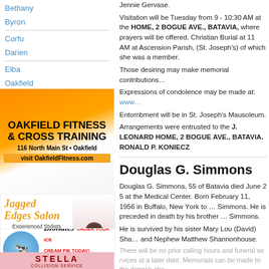Bethany
Byron
Corfu
Darien
Elba
Oakfield
Pavilion
Pembroke
Stafford
[Figure (illustration): Oakfield Fitness & Cross Training advertisement. 116 North Main St, Oakfield. visit OakfieldFitness.com]
[Figure (illustration): Jagged Edges Salon advertisement. Experienced Stylists, Walk-ins Welcome. 343-1010. 4140 Veterans Memorial Dr]
[Figure (illustration): Blondies ice cream advertisement. Order Your Ice Cream Pie Today! HRS: Mon-Sat 11:30am-9pm, Sun: 1-9pm. 670 E. Main St., Batavia. 585-487-4636]
[Figure (illustration): Stella Collision Service advertisement]
Jennie Gervase.
Visitation will be Tuesday from 9 - 10:30 AM at the HOME, 2 BOGUE AVE., BATAVIA, where prayers will be offered. Christian Burial at 11 AM at Ascension Parish, (St. Joseph's) of which she was a member.
Those desiring may make memorial contributions to...
Expressions of condolence may be made at: www...
Entombment will be in St. Joseph's Mausoleum.
Arrangements were entrusted to the J. LEONARD HOME, 2 BOGUE AVE., BATAVIA. RONALD P. KONIEC...
Douglas G. Simmons
Douglas G. Simmons, 55 of Batavia died June 25 at the Medical Center. Born February 11, 1956 in Buffalo, New York to ... Simmons. He is preceded in death by his brother ... Simmons.
He is survived by his sister Mary Lou (David) Sha... and Nephew Matthew Shannonhouse.
There will be no prior calling hours and funeral services at a later date. Memorials can be made to the donor's cho...